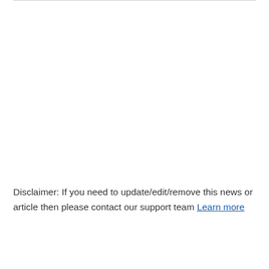Disclaimer: If you need to update/edit/remove this news or article then please contact our support team Learn more